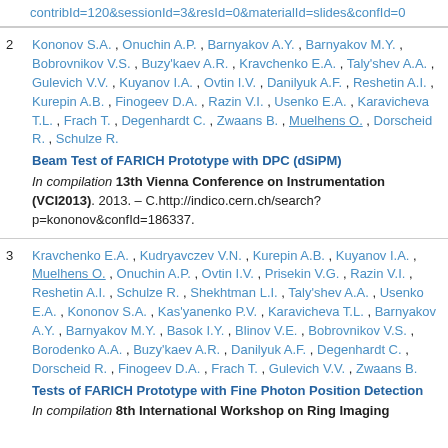contribId=120&sessionId=3&resId=0&materialId=slides&confId=0
2  Kononov S.A. , Onuchin A.P. , Barnyakov A.Y. , Barnyakov M.Y. , Bobrovnikov V.S. , Buzy'kaev A.R. , Kravchenko E.A. , Taly'shev A.A. , Gulevich V.V. , Kuyanov I.A. , Ovtin I.V. , Danilyuk A.F. , Reshetin A.I. , Kurepin A.B. , Finogeev D.A. , Razin V.I. , Usenko E.A. , Karavicheva T.L. , Frach T. , Degenhardt C. , Zwaans B. , Muelhens O. , Dorscheid R. , Schulze R.
Beam Test of FARICH Prototype with DPC (dSiPM)
In compilation 13th Vienna Conference on Instrumentation (VCI2013). 2013. – C.http://indico.cern.ch/search?p=kononov&confId=186337.
3  Kravchenko E.A. , Kudryavczev V.N. , Kurepin A.B. , Kuyanov I.A. , Muelhens O. , Onuchin A.P. , Ovtin I.V. , Prisekin V.G. , Razin V.I. , Reshetin A.I. , Schulze R. , Shekhtman L.I. , Taly'shev A.A. , Usenko E.A. , Kononov S.A. , Kas'yanenko P.V. , Karavicheva T.L. , Barnyakov A.Y. , Barnyakov M.Y. , Basok I.Y. , Blinov V.E. , Bobrovnikov V.S. , Borodenko A.A. , Buzy'kaev A.R. , Danilyuk A.F. , Degenhardt C. , Dorscheid R. , Finogeev D.A. , Frach T. , Gulevich V.V. , Zwaans B.
Tests of FARICH Prototype with Fine Photon Position Detection
In compilation 8th International Workshop on Ring Imaging...